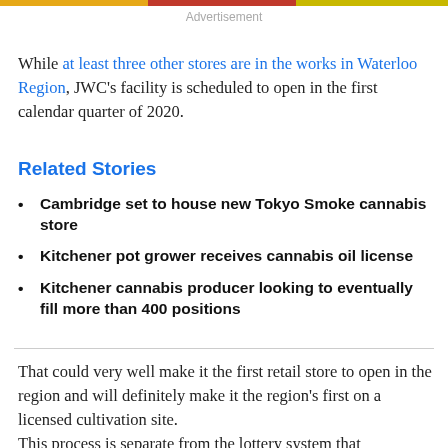[Figure (photo): Colorful advertisement banner strip at top of page]
Advertisement
While at least three other stores are in the works in Waterloo Region, JWC's facility is scheduled to open in the first calendar quarter of 2020.
Related Stories
Cambridge set to house new Tokyo Smoke cannabis store
Kitchener pot grower receives cannabis oil license
Kitchener cannabis producer looking to eventually fill more than 400 positions
That could very well make it the first retail store to open in the region and will definitely make it the region's first on a licensed cultivation site.
This process is separate from the lottery system that